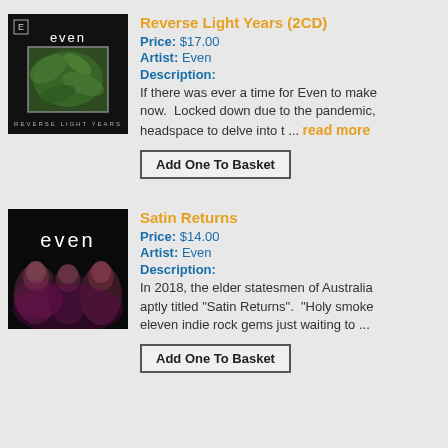[Figure (photo): Album cover for 'Reverse Light Years' by Even. Black background with band name 'even' in white text at top, green fern photo in a rectangular frame in center, 'REVERSE LIGHT YEARS' text at bottom.]
Reverse Light Years (2CD)
Price: $17.00
Artist: Even
Description: If there was ever a time for Even to make... now. Locked down due to the pandemic, headspace to delve into t ... read more
[Figure (photo): Album cover for 'Satin Returns' by Even. Black background with band name 'even' in large white text at top, three band members with pink/purple lighting at bottom.]
Satin Returns
Price: $14.00
Artist: Even
Description: In 2018, the elder statesmen of Australia... aptly titled "Satin Returns". "Holy smoke... eleven indie rock gems just waiting to ...